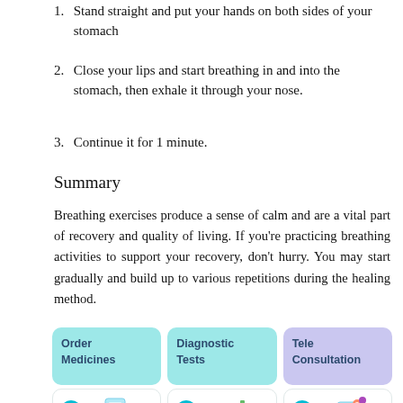1. Stand straight and put your hands on both sides of your stomach
2. Close your lips and start breathing in and into the stomach, then exhale it through your nose.
3. Continue it for 1 minute.
Summary
Breathing exercises produce a sense of calm and are a vital part of recovery and quality of living. If you’re practicing breathing activities to support your recovery, don’t hurry. You may start gradually and build up to various repetitions during the healing method.
[Figure (infographic): Three service cards: Order Medicines (cyan), Diagnostic Tests (cyan), Tele Consultation (purple), each with an arrow button and an illustration below.]